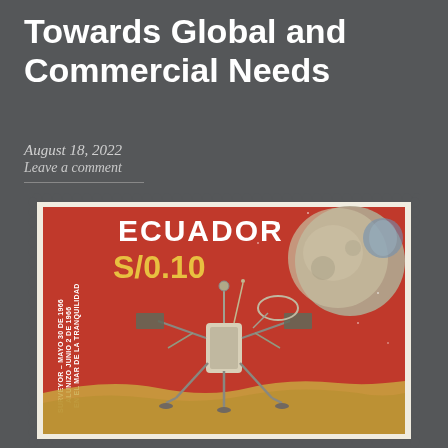Towards Global and Commercial Needs
August 18, 2022
Leave a comment
[Figure (photo): Ecuador postage stamp showing the Surveyor spacecraft on the lunar surface with the Moon and Earth in the background. The stamp reads 'ECUADOR S/0.10' and includes text 'SURVEYOR – MAYO 30 DE 1966 ALUNIZO JUNIO 2 DE 1966 EN EL MAR DE LA TRANQUILIDAD'. The stamp has perforated edges and a red background.]